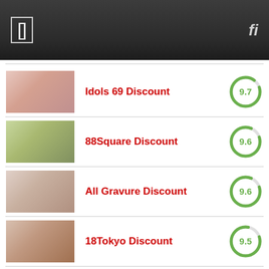Idols 69 Discount — 9.7
88Square Discount — 9.6
All Gravure Discount — 9.6
18Tokyo Discount — 9.5
All Japanese Pass Discount — 9.5